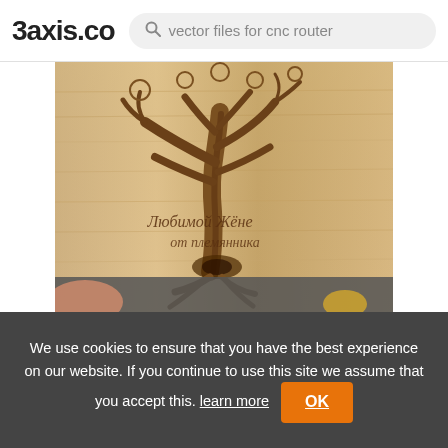3axis.co | vector files for cnc router
[Figure (photo): Photo of a wooden cutting board with a laser-engraved tree design and Cyrillic text inscription reading 'Любимой Жёне от племянника']
Format: DXF
CNC Router Engraving Tree On Food Cutting Board DXF File
We use cookies to ensure that you have the best experience on our website. If you continue to use this site we assume that you accept this. learn more OK